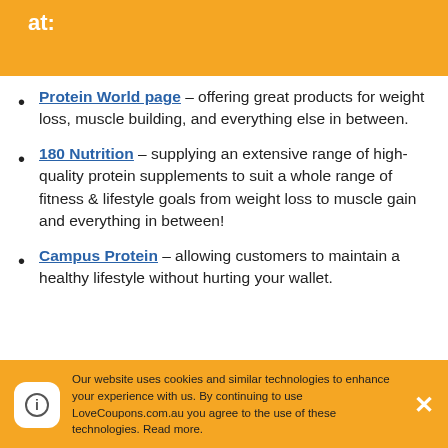at:
Protein World page – offering great products for weight loss, muscle building, and everything else in between.
180 Nutrition – supplying an extensive range of high-quality protein supplements to suit a whole range of fitness & lifestyle goals from weight loss to muscle gain and everything in between!
Campus Protein – allowing customers to maintain a healthy lifestyle without hurting your wallet.
Our website uses cookies and similar technologies to enhance your experience with us. By continuing to use LoveCoupons.com.au you agree to the use of these technologies. Read more.